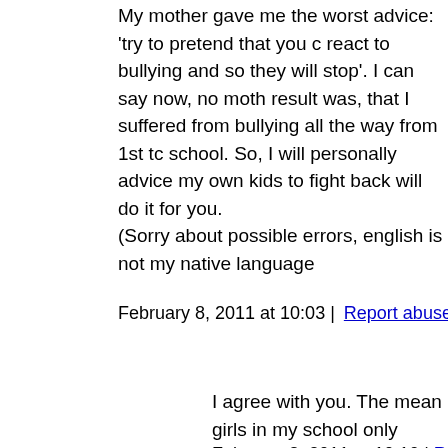My mother gave me the worst advice: 'try to pretend that you c react to bullying and so they will stop'. I can say now, no moth result was, that I suffered from bullying all the way from 1st tc school. So, I will personally advice my own kids to fight back will do it for you.
(Sorry about possible errors, english is not my native language
February 8, 2011 at 10:03 | Report abuse | Reply
Suzanne
I agree with you. The mean girls in my school only stopp off and gave one of them a bloody lip. I'm not proud of t
February 8, 2011 at 10:10 | Report abuse |
ric
I couldn't agree with you more..same thing happened to I fought back. I think bullying has gotten worst partly be alternative ways of dealing with an age old problem, wh fight back) will do nicely. I actually had the bullies want up to the biggest one.
February 8, 2011 at 10:22 | Report abuse |
MrsFizzy
Of course, this is part of human psychology, not uniqu